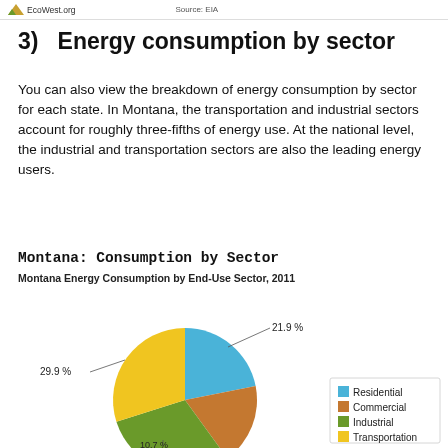EcoWest.org    Source: EIA
3)   Energy consumption by sector
You can also view the breakdown of energy consumption by sector for each state. In Montana, the transportation and industrial sectors account for roughly three-fifths of energy use. At the national level, the industrial and transportation sectors are also the leading energy users.
Montana: Consumption by Sector
Montana Energy Consumption by End-Use Sector, 2011
[Figure (pie-chart): Montana Energy Consumption by End-Use Sector, 2011]